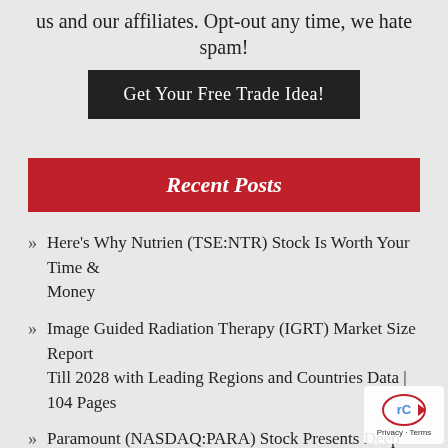us and our affiliates. Opt-out any time, we hate spam!
Get Your Free Trade Idea!
Recent Posts
Here's Why Nutrien (TSE:NTR) Stock Is Worth Your Time & Money
Image Guided Radiation Therapy (IGRT) Market Size Report Till 2028 with Leading Regions and Countries Data | 104 Pages
Paramount (NASDAQ:PARA) Stock Presents Deep Value as Subscribers Surge
Stock market update: Sugar stocks up as market rises
Stock Market: BSE Sensex rises over 300 points in early trade; NSE Nifty nears 17,700